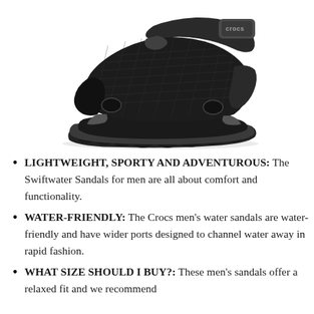[Figure (photo): Black Crocs Swiftwater sandal with mesh upper, velcro strap with Crocs logo, gray accents, and thick rubber sole. Product shot on white background.]
LIGHTWEIGHT, SPORTY AND ADVENTUROUS: The Swiftwater Sandals for men are all about comfort and functionality.
WATER-FRIENDLY: The Crocs men's water sandals are water-friendly and have wider ports designed to channel water away in rapid fashion.
WHAT SIZE SHOULD I BUY?: These men's sandals offer a relaxed fit and we recommend